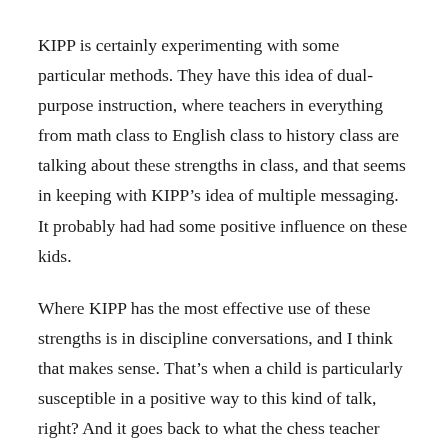KIPP is certainly experimenting with some particular methods. They have this idea of dual-purpose instruction, where teachers in everything from math class to English class to history class are talking about these strengths in class, and that seems in keeping with KIPP's idea of multiple messaging. It probably had had some positive influence on these kids.
Where KIPP has the most effective use of these strengths is in discipline conversations, and I think that makes sense. That's when a child is particularly susceptible in a positive way to this kind of talk, right? And it goes back to what the chess teacher found, right? Part of the reason, I think, she's so effective at helping these kids improve themselves is that they come in a pretty controlled way; in a chess game, they're constantly failing, and she's saying, “Here's what you